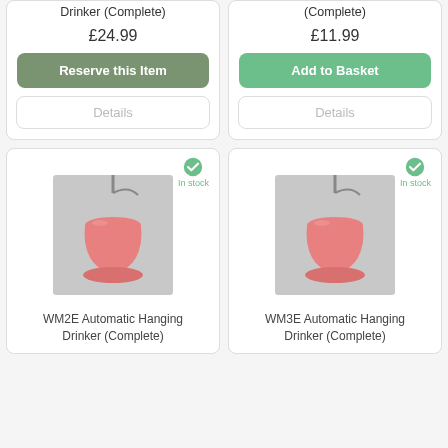Drinker (Complete)
(Complete)
£24.99
£11.99
Reserve this Item
Add to Basket
Details
Details
In stock
In stock
[Figure (photo): WM2E Automatic Hanging Drinker - pink cone-shaped hanging drinker with metal hook]
WM2E Automatic Hanging Drinker (Complete)
[Figure (photo): WM3E Automatic Hanging Drinker - pink cone-shaped hanging drinker with metal hook]
WM3E Automatic Hanging Drinker (Complete)